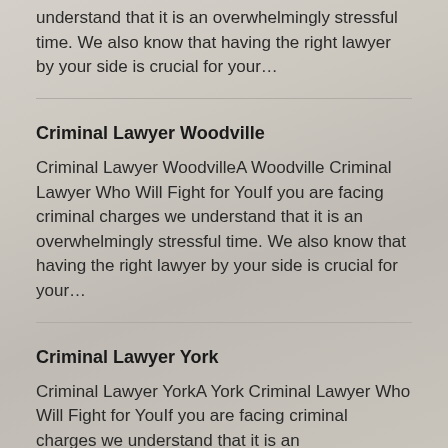understand that it is an overwhelmingly stressful time. We also know that having the right lawyer by your side is crucial for your…
Criminal Lawyer Woodville
Criminal Lawyer WoodvilleA Woodville Criminal Lawyer Who Will Fight for YouIf you are facing criminal charges we understand that it is an overwhelmingly stressful time. We also know that having the right lawyer by your side is crucial for your…
Criminal Lawyer York
Criminal Lawyer YorkA York Criminal Lawyer Who Will Fight for YouIf you are facing criminal charges we understand that it is an overwhelmingly stressful time. We also know that having the right lawyer by your side is crucial for your case. You…